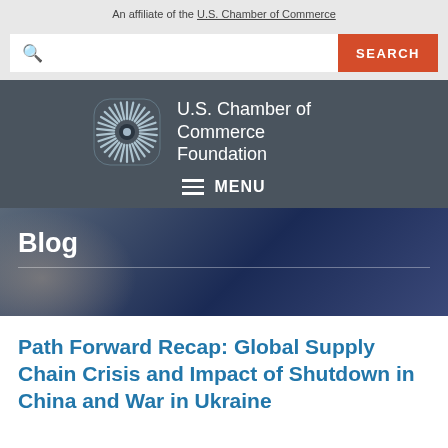An affiliate of the U.S. Chamber of Commerce
[Figure (screenshot): Search bar with magnifying glass icon and red SEARCH button]
[Figure (logo): U.S. Chamber of Commerce Foundation logo with radial spoke design]
U.S. Chamber of Commerce Foundation
≡ MENU
Blog
Path Forward Recap: Global Supply Chain Crisis and Impact of Shutdown in China and War in Ukraine